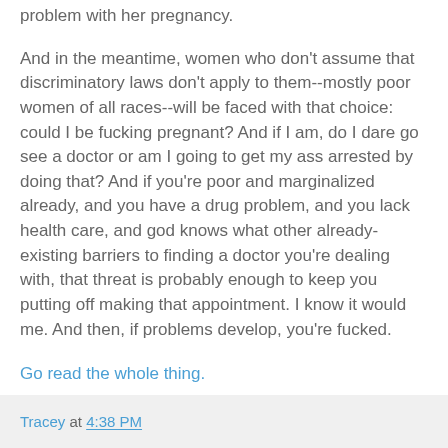problem with her pregnancy.
And in the meantime, women who don't assume that discriminatory laws don't apply to them--mostly poor women of all races--will be faced with that choice: could I be fucking pregnant? And if I am, do I dare go see a doctor or am I going to get my ass arrested by doing that? And if you're poor and marginalized already, and you have a drug problem, and you lack health care, and god knows what other already-existing barriers to finding a doctor you're dealing with, that threat is probably enough to keep you putting off making that appointment. I know it would me. And then, if problems develop, you're fucked.
Go read the whole thing.
Tracey at 4:38 PM